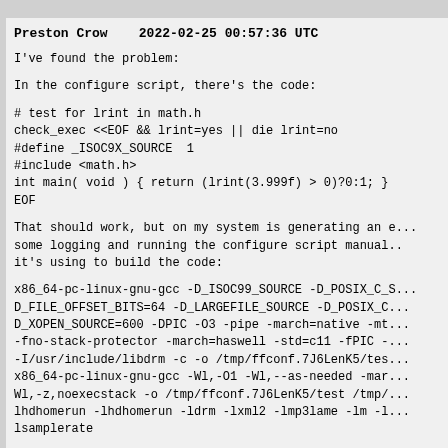Preston Crow   2022-02-25 00:57:36 UTC
I've found the problem:
In the configure script, there's the code:
# test for lrint in math.h
check_exec <<EOF && lrint=yes || die lrint=no
#define _ISOC9X_SOURCE  1
#include <math.h>
int main( void ) { return (lrint(3.999f) > 0)?0:1; }
EOF
That should work, but on my system is generating an error. After adding some logging and running the configure script manually, this is the command it's using to build the code:
x86_64-pc-linux-gnu-gcc -D_ISOC99_SOURCE -D_POSIX_C_SOURCE=200809L -D_FILE_OFFSET_BITS=64 -D_LARGEFILE_SOURCE -D_POSIX_C_THREAD_SAFE -D_XOPEN_SOURCE=600 -DPIC -O3 -pipe -march=native -mtune=native -fno-stack-protector -march=haswell -std=c11 -fPIC -pthread -I/usr/include/libdrm -c -o /tmp/ffconf.7J6LenK5/test.o
x86_64-pc-linux-gnu-gcc -Wl,-O1 -Wl,--as-needed -march=native -Wl,-z,noexecstack -o /tmp/ffconf.7J6LenK5/test /tmp/ lhdhomerun -lhdhomerun -ldrm -lxml2 -lmp3lame -lm -li...
lsamplerate
The problem is that I have a Celeron Haswell processor and march=haswell overriding -march=native  which enable...